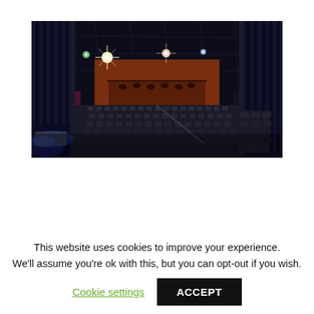[Figure (photo): Interior of an empty theater or performance venue. Dark ceiling with stage lighting (bright star-burst lights), dark navy/black curtains on the sides and back, deep red/maroon walls visible at the far end with a balcony area. Rows of dark theater seats arranged in a raked seating configuration. A small stage area visible in the lower left with blue lighting. The overall color palette is dark with dramatic spot lighting.]
This website uses cookies to improve your experience. We'll assume you're ok with this, but you can opt-out if you wish.
Cookie settings
ACCEPT